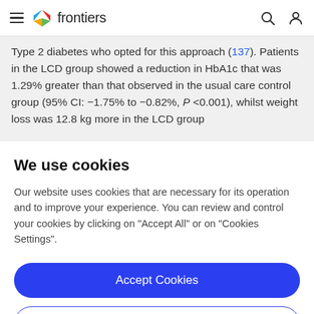frontiers
Type 2 diabetes who opted for this approach (137). Patients in the LCD group showed a reduction in HbA1c that was 1.29% greater than that observed in the usual care control group (95% CI: −1.75% to −0.82%, P <0.001), whilst weight loss was 12.8 kg more in the LCD group
We use cookies
Our website uses cookies that are necessary for its operation and to improve your experience. You can review and control your cookies by clicking on "Accept All" or on "Cookies Settings".
Accept Cookies
Cookies Settings